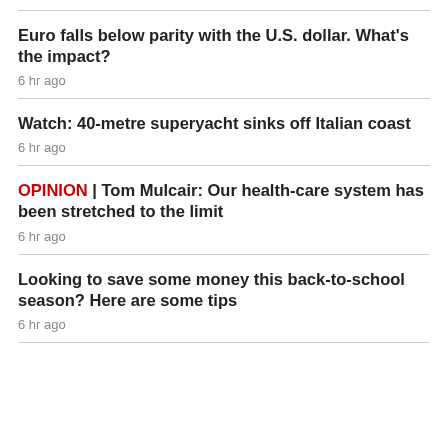Euro falls below parity with the U.S. dollar. What's the impact?
6 hr ago
Watch: 40-metre superyacht sinks off Italian coast
6 hr ago
OPINION | Tom Mulcair: Our health-care system has been stretched to the limit
6 hr ago
Looking to save some money this back-to-school season? Here are some tips
6 hr ago